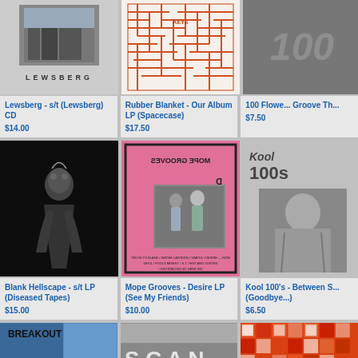[Figure (photo): Lewsberg album cover - grey toned photo with band name text below]
Lewsberg - s/t (Lewsberg) CD
$14.00
[Figure (photo): Rubber Blanket - Our Album LP (Spacecase) - orange maze/labyrinth pattern cover]
Rubber Blanket - Our Album LP (Spacecase)
$17.50
[Figure (photo): 100 Flowers album cover - dark with large 100 text]
100 Flowers - Groove Th...
$7.50
[Figure (photo): Blank Hellscape - s/t LP - black album cover with metallic figure]
Blank Hellscape - s/t LP (Diseased Tapes)
$15.00
[Figure (photo): Mope Grooves - Desire LP - pink cover with mirrored text and band photo]
Mope Grooves - Desire LP (See My Friends)
$10.00
[Figure (photo): Kool 100s - Between S... album cover - black and white photo]
Kool 100's - Between S... (Goodbye...)
$6.50
[Figure (photo): Breakout album cover - blue geometric design with band photo]
[Figure (photo): Scan album cover - building exterior photo]
[Figure (photo): Orange geometric pattern album cover]